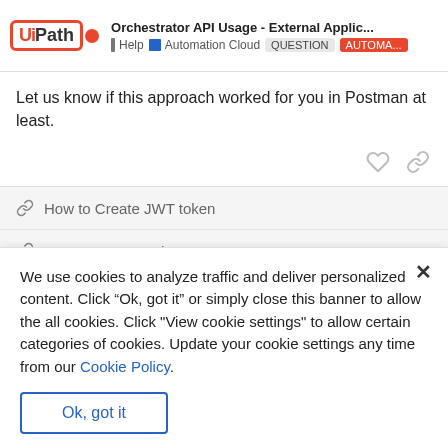Orchestrator API Usage - External Applic...
Let us know if this approach worked for you in Postman at least.
How to Create JWT token
Generate JWT Token
We use cookies to analyze traffic and deliver personalized content. Click “Ok, got it” or simply close this banner to allow the all cookies. Click "View cookie settings" to allow certain categories of cookies. Update your cookie settings any time from our Cookie Policy.